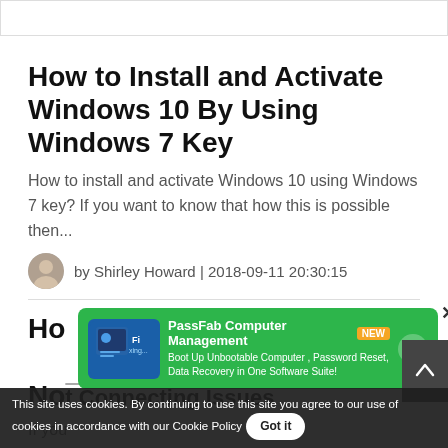[Figure (other): Top banner/advertisement placeholder (white box with border)]
How to Install and Activate Windows 10 By Using Windows 7 Key
How to install and activate Windows 10 using Windows 7 key? If you want to know that how this is possible then...
by Shirley Howard | 2018-09-11 20:30:15
Ho...
No... (partial second article title)
If you... the article (partial excerpt)
[Figure (screenshot): PassFab Computer Management advertisement banner (green background). Text: PassFab Computer Management NEW. Boot Up Unbootable Computer, Password Reset, Data Recovery in One Software Suite!]
This site uses cookies. By continuing to use this site you agree to our use of cookies in accordance with our Cookie Policy